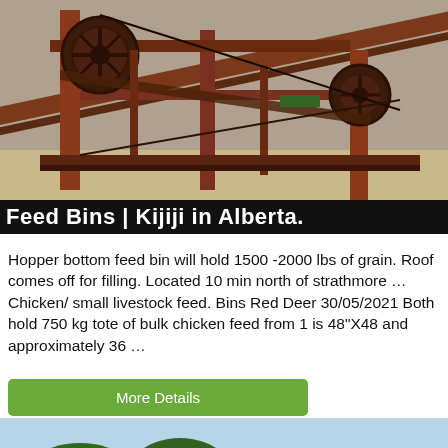[Figure (photo): Photo of rusty industrial machinery/conveyor equipment outdoors on bare ground]
Feed Bins | Kijiji in Alberta.
Hopper bottom feed bin will hold 1500 -2000 lbs of grain. Roof comes off for filling. Located 10 min north of strathmore … Chicken/ small livestock feed. Bins Red Deer 30/05/2021 Both hold 750 kg tote of bulk chicken feed from 1 is 48"X48 and approximately 36 …
More Details
[Figure (photo): Photo of industrial crushing/screening machinery with trees and blue sky in background, with chat bubble overlay]